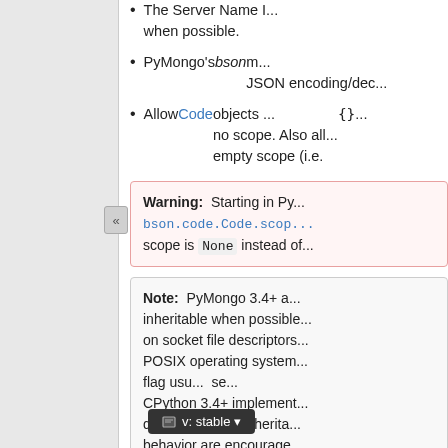The Server Name I... when possible.
PyMongo's bson m... JSON encoding/dec...
Allow Code objects ... no scope. Also all... empty scope (i.e. {}...
Warning: Starting in Py... bson.code.Code.scop... scope is None instead of...
Note: PyMongo 3.4+ a... inheritable when possible... on socket file descriptors... POSIX operating system... flag usu... se... CPython 3.4+ implement... descriptors non-inherita... behavior are encourage...